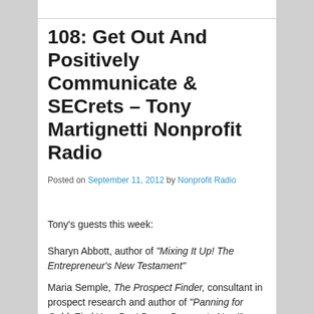108: Get Out And Positively Communicate & SECrets – Tony Martignetti Nonprofit Radio
Posted on September 11, 2012 by Nonprofit Radio
Tony's guests this week:
Sharyn Abbott, author of “Mixing It Up! The Entrepreneur’s New Testament”
Maria Semple, The Prospect Finder, consultant in prospect research and author of “Panning for Gold: Find Your Best Donor Prospects Now!”